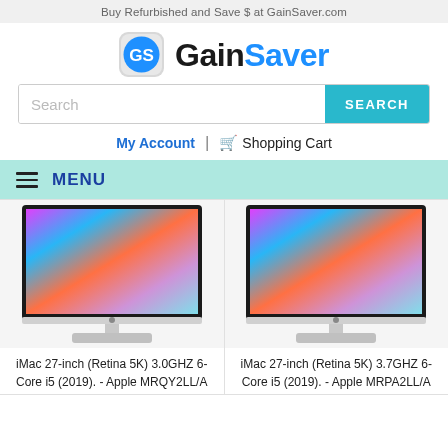Buy Refurbished and Save $ at GainSaver.com
[Figure (logo): GainSaver logo with circular icon and text GainSaver]
Search
My Account | Shopping Cart
MENU
[Figure (photo): iMac 27-inch product photo with colorful wallpaper on screen, left product]
[Figure (photo): iMac 27-inch product photo with colorful wallpaper on screen, right product]
iMac 27-inch (Retina 5K) 3.0GHZ 6-Core i5 (2019). - Apple MRQY2LL/A
iMac 27-inch (Retina 5K) 3.7GHZ 6-Core i5 (2019). - Apple MRPA2LL/A